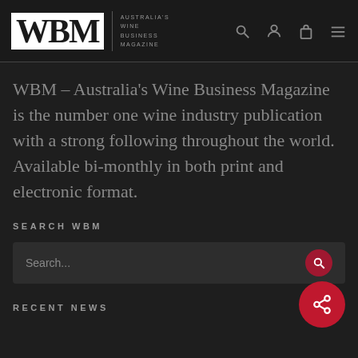WBM – Australia's Wine Business Magazine
WBM – Australia's Wine Business Magazine is the number one wine industry publication with a strong following throughout the world. Available bi-monthly in both print and electronic format.
SEARCH WBM
Search...
RECENT NEWS